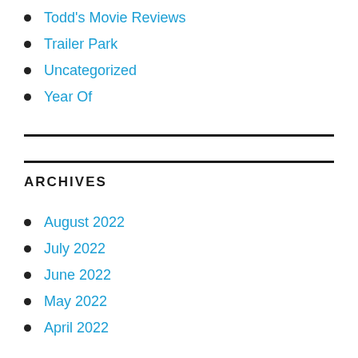Todd's Movie Reviews
Trailer Park
Uncategorized
Year Of
ARCHIVES
August 2022
July 2022
June 2022
May 2022
April 2022